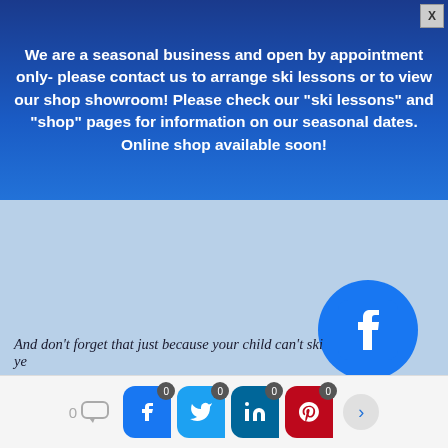We are a seasonal business and open by appointment only- please contact us to arrange ski lessons or to view our shop showroom! Please check our "ski lessons" and "shop" pages for information on our seasonal dates. Online shop available soon!
[Figure (illustration): Facebook logo circle icon (blue circle with white F letter) in the lower right of the main content area]
And don't forget that just because your child can't ski ye
[Figure (infographic): Social sharing bar at bottom with comment count (0), Facebook share button (0), Twitter share button (0), LinkedIn share button (0), Pinterest share button (0), and next arrow]